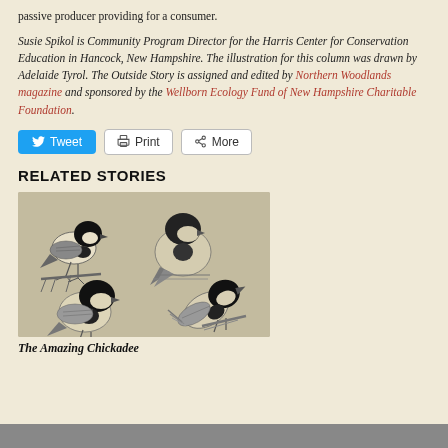passive producer providing for a consumer.
Susie Spikol is Community Program Director for the Harris Center for Conservation Education in Hancock, New Hampshire. The illustration for this column was drawn by Adelaide Tyrol. The Outside Story is assigned and edited by Northern Woodlands magazine and sponsored by the Wellborn Ecology Fund of New Hampshire Charitable Foundation.
RELATED STORIES
[Figure (illustration): Pencil sketch illustrations of four chickadees in various poses on a tan/grey background.]
The Amazing Chickadee